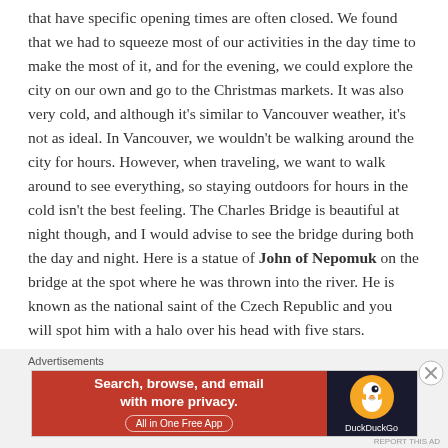that have specific opening times are often closed. We found that we had to squeeze most of our activities in the day time to make the most of it, and for the evening, we could explore the city on our own and go to the Christmas markets. It was also very cold, and although it's similar to Vancouver weather, it's not as ideal. In Vancouver, we wouldn't be walking around the city for hours. However, when traveling, we want to walk around to see everything, so staying outdoors for hours in the cold isn't the best feeling. The Charles Bridge is beautiful at night though, and I would advise to see the bridge during both the day and night. Here is a statue of John of Nepomuk on the bridge at the spot where he was thrown into the river. He is known as the national saint of the Czech Republic and you will spot him with a halo over his head with five stars.
Advertisements
[Figure (other): DuckDuckGo advertisement banner: orange/red left section with text 'Search, browse, and email with more privacy. All in One Free App' and dark right section with DuckDuckGo logo and duck icon.]